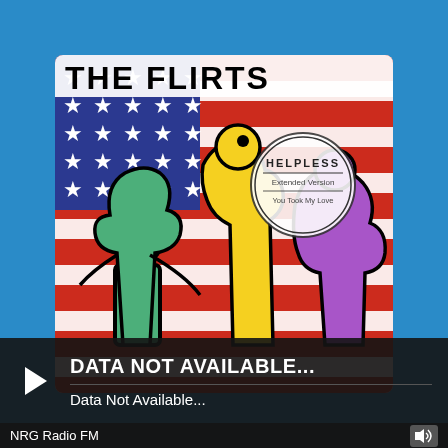[Figure (illustration): Album cover for 'The Flirts - Helpless' showing three stylized female figures in green, yellow, and purple colors against an American flag background. A circular stamp reads 'HELPLESS Extended Version / You Took My Love'. The band name 'THE FLIRTS' is displayed in large bold black letters at the top.]
DATA NOT AVAILABLE...
Data Not Available...
NRG Radio FM